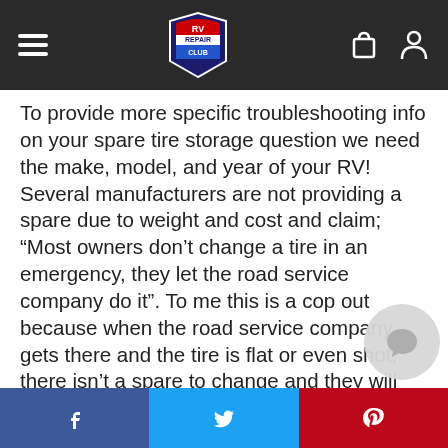RV Repair Club
To provide more specific troubleshooting info on your spare tire storage question we need the make, model, and year of your RV! Several manufacturers are not providing a spare due to weight and cost and claim; “Most owners don’t change a tire in an emergency, they let the road service company do it”. To me this is a cop out because when the road service company gets there and the tire is flat or even shot, there isn’t a spare to change and they will not patch a tire on the road. So it’s either a tow or another trip to get a new tire put on the rim at the shop and back. I would suggest contacting your selling dealer or the RV company and ask exa... they designed storage for a spare? Most of the...
f  t  p